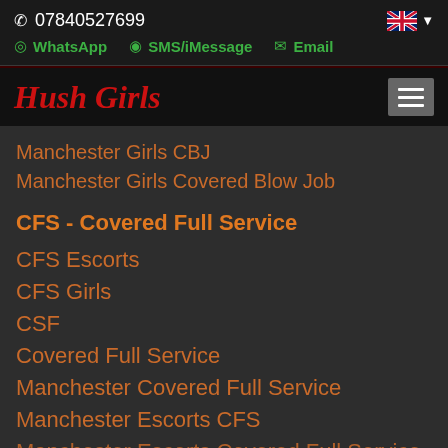07840527699
WhatsApp   SMS/iMessage   Email
Hush Girls
Manchester Girls CBJ
Manchester Girls Covered Blow Job
CFS - Covered Full Service
CFS Escorts
CFS Girls
CSF
Covered Full Service
Manchester Covered Full Service
Manchester Escorts CFS
Manchester Escorts Covered Full Service